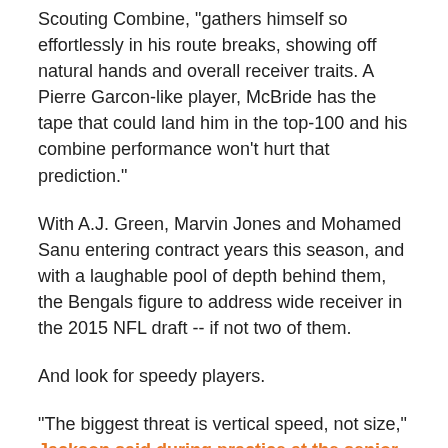Scouting Combine, "gathers himself so effortlessly in his route breaks, showing off natural hands and overall receiver traits. A Pierre Garcon-like player, McBride has the tape that could land him in the top-100 and his combine performance won't hurt that prediction."
With A.J. Green, Marvin Jones and Mohamed Sanu entering contract years this season, and with a laughable pool of depth behind them, the Bengals figure to address wide receiver in the 2015 NFL draft -- if not two of them.
And look for speedy players.
"The biggest threat is vertical speed, not size," Jackson said during practice at the senior bowl in January. "If I'm faster than you, but you're taller than me, I'm eventually going to find a way to get